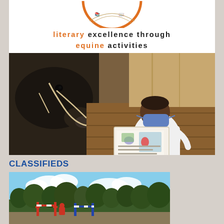[Figure (logo): Circular logo with orange border, depicting books and horse-related imagery. Part of the circle visible at top.]
literary excellence through equine activities
[Figure (photo): A young Black boy wearing a white t-shirt and blue face mask reads a colorful picture book to a dark horse in a stable. Wooden stall boards visible in background.]
CLASSIFIEDS
[Figure (photo): Outdoor equestrian facility with trees and what appears to be a show jumping course with colorful poles.]